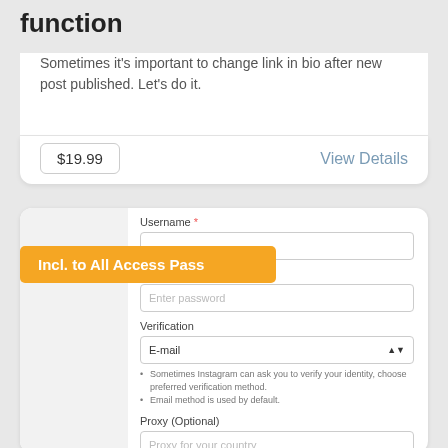function
Sometimes it's important to change link in bio after new post published. Let's do it.
$19.99
View Details
[Figure (screenshot): A form UI with Username, Password, Verification (E-mail dropdown), and Proxy (Optional) fields, with an orange badge reading 'Incl. to All Access Pass' overlaid on the left side.]